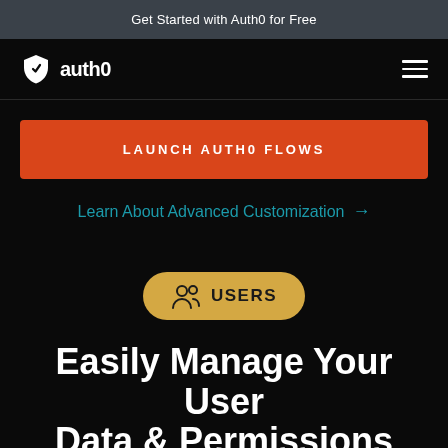Get Started with Auth0 for Free
[Figure (logo): Auth0 logo with shield icon and text 'auth0' in white on black background, with hamburger menu icon on the right]
LAUNCH AUTH0 FLOWS
Learn About Advanced Customization →
[Figure (illustration): Golden/yellow pill-shaped badge with users icon and text 'USERS']
Easily Manage Your User Data & Permissions